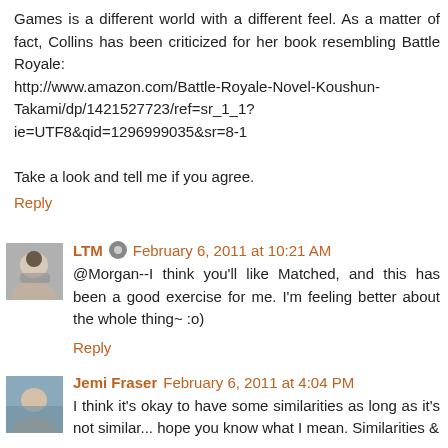Games is a different world with a different feel. As a matter of fact, Collins has been criticized for her book resembling Battle Royale:
http://www.amazon.com/Battle-Royale-Novel-Koushun-Takami/dp/1421527723/ref=sr_1_1?ie=UTF8&qid=1296999035&sr=8-1

Take a look and tell me if you agree.
Reply
LTM  February 6, 2011 at 10:21 AM
@Morgan--I think you'll like Matched, and this has been a good exercise for me. I'm feeling better about the whole thing~ :o)
Reply
Jemi Fraser  February 6, 2011 at 4:04 PM
I think it's okay to have some similarities as long as it's not similar... hope you know what I mean. Similarities &